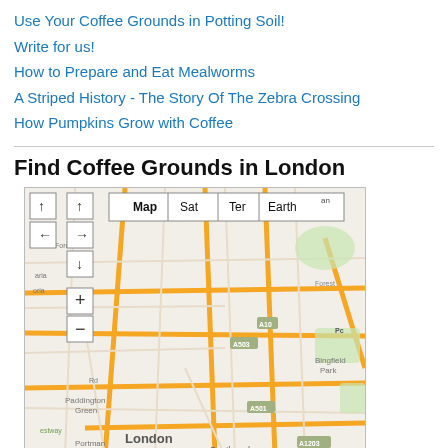Use Your Coffee Grounds in Potting Soil!
Write for us!
How to Prepare and Eat Mealworms
A Striped History - The Story Of The Zebra Crossing
How Pumpkins Grow with Coffee
Find Coffee Grounds in London
[Figure (map): Google Maps style interactive map of London showing numerous teal/cyan map pin markers indicating coffee ground collection locations across central London. Map includes navigation controls (up, left, right, down arrows, zoom in/out), map type buttons (Map, Sat, Ter, Earth), street names including Bingfield Park, Paddington Green, Portman Square, London, Southwark, A503, A10, A501, A1203, Forest, Hignam. One green pin visible among many teal pins.]